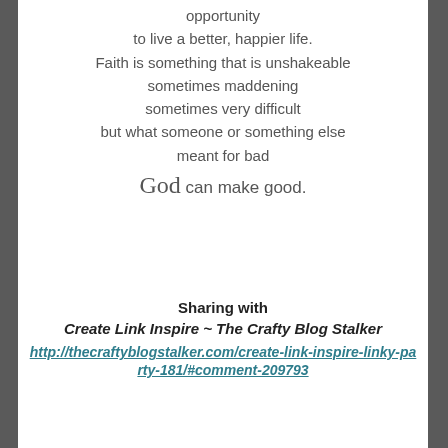opportunity
to live a better, happier life.
Faith is something that is unshakeable
sometimes maddening
sometimes very difficult
but what someone or something else
meant for bad
God can make good.
Sharing with
Create Link Inspire ~ The Crafty Blog Stalker
http://thecraftyblogstalker.com/create-link-inspire-linky-party-181/#comment-209793